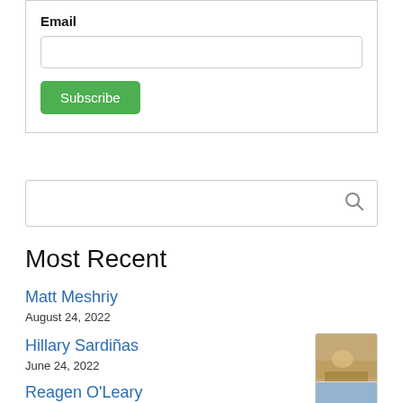Email
Subscribe
[Figure (other): Search box with magnifying glass icon]
Most Recent
Matt Meshriy
August 24, 2022
Hillary Sardiñas
June 24, 2022
[Figure (photo): Thumbnail photo of a person outdoors in a field]
Reagen O'Leary
June 15, 2022
[Figure (photo): Thumbnail photo of an outdoor scene with dry landscape]